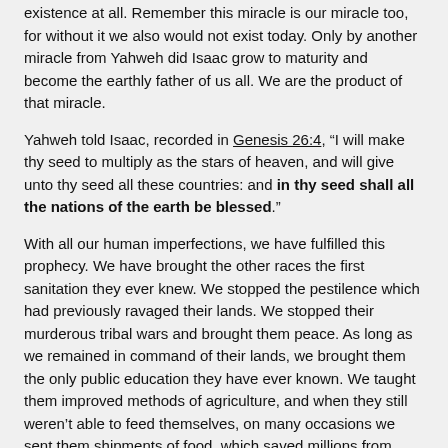existence at all. Remember this miracle is our miracle too, for without it we also would not exist today. Only by another miracle from Yahweh did Isaac grow to maturity and become the earthly father of us all. We are the product of that miracle.
Yahweh told Isaac, recorded in Genesis 26:4, “I will make thy seed to multiply as the stars of heaven, and will give unto thy seed all these countries: and in thy seed shall all the nations of the earth be blessed.”
With all our human imperfections, we have fulfilled this prophecy. We have brought the other races the first sanitation they ever knew. We stopped the pestilence which had previously ravaged their lands. We stopped their murderous tribal wars and brought them peace. As long as we remained in command of their lands, we brought them the only public education they have ever known. We taught them improved methods of agriculture, and when they still weren’t able to feed themselves, on many occasions we sent them shipments of food, which saved millions from death by famine.
By a miracle, Yahweh created Isaac for a purpose, to be the ancestor of our race. By miracles, Yahweh brought us to the great numbers and power He had promised to us. Yahweh said of us, “They shall show forth My praise”. Despite our human faults, we have done so.